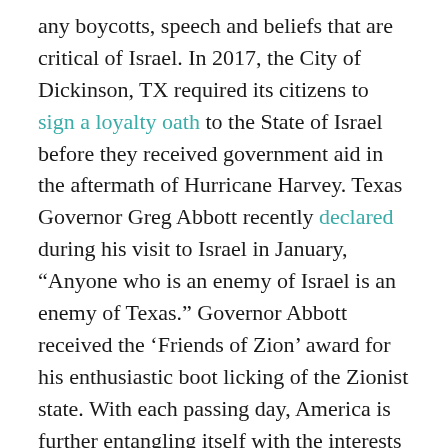any boycotts, speech and beliefs that are critical of Israel. In 2017, the City of Dickinson, TX required its citizens to sign a loyalty oath to the State of Israel before they received government aid in the aftermath of Hurricane Harvey. Texas Governor Greg Abbott recently declared during his visit to Israel in January, “Anyone who is an enemy of Israel is an enemy of Texas.” Governor Abbott received the ‘Friends of Zion’ award for his enthusiastic boot licking of the Zionist state. With each passing day, America is further entangling itself with the interests of the State of Israel. Israel is an entangling alliance that our Founders warned us about:
“It is our true policy to steer clear of permanent